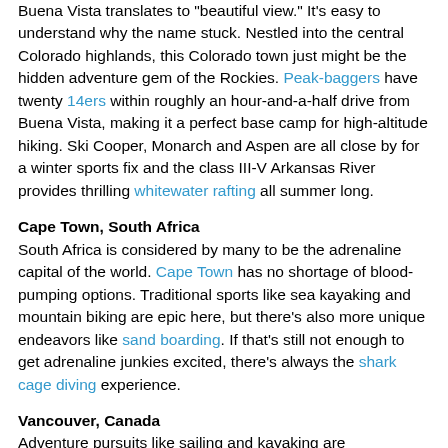Buena Vista translates to "beautiful view." It's easy to understand why the name stuck. Nestled into the central Colorado highlands, this Colorado town just might be the hidden adventure gem of the Rockies. Peak-baggers have twenty 14ers within roughly an hour-and-a-half drive from Buena Vista, making it a perfect base camp for high-altitude hiking. Ski Cooper, Monarch and Aspen are all close by for a winter sports fix and the class III-V Arkansas River provides thrilling whitewater rafting all summer long.
Cape Town, South Africa
South Africa is considered by many to be the adrenaline capital of the world. Cape Town has no shortage of blood-pumping options. Traditional sports like sea kayaking and mountain biking are epic here, but there's also more unique endeavors like sand boarding. If that's still not enough to get adrenaline junkies excited, there's always the shark cage diving experience.
Vancouver, Canada
Adventure pursuits like sailing and kayaking are synonymous...